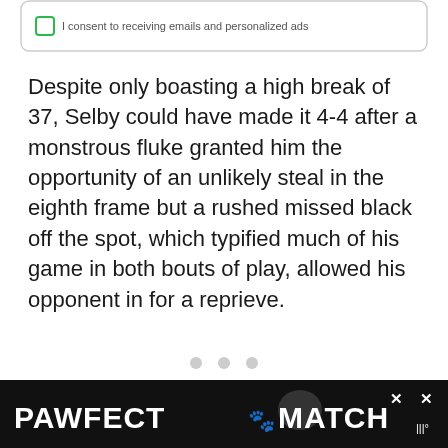[Figure (screenshot): Partial UI element: a rounded rectangle box with a checkbox icon and truncated text about receiving emails and personalized ads]
Despite only boasting a high break of 37, Selby could have made it 4-4 after a monstrous fluke granted him the opportunity of an unlikely steal in the eighth frame but a rushed missed black off the spot, which typified much of his game in both bouts of play, allowed his opponent in for a reprieve.
[Figure (other): Three gray pagination dots]
[Figure (other): Green circular heart/favorite button]
[Figure (other): White circular share button with share icon]
[Figure (other): Advertisement banner: PAWFECT MATCH with cat logo on black background]